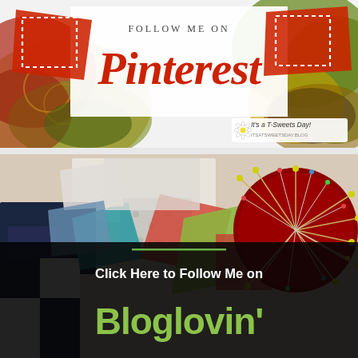[Figure (infographic): Follow Me on Pinterest banner with red brush strokes on sides, dashed decorative frames, crocheted items in background, and 'It's a T Sweets Day! itsatsweetsday.blog' brand badge in bottom right corner.]
[Figure (infographic): Click Here to Follow Me on Bloglovin' banner with colorful quilt fabric pieces and pin cushion in background, green accent line, text on dark semi-transparent overlay at bottom.]